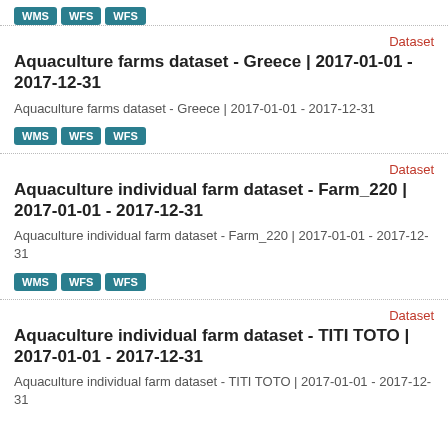WMS WFS WFS
Dataset
Aquaculture farms dataset - Greece | 2017-01-01 - 2017-12-31
Aquaculture farms dataset - Greece | 2017-01-01 - 2017-12-31
WMS WFS WFS
Dataset
Aquaculture individual farm dataset - Farm_220 | 2017-01-01 - 2017-12-31
Aquaculture individual farm dataset - Farm_220 | 2017-01-01 - 2017-12-31
WMS WFS WFS
Dataset
Aquaculture individual farm dataset - TITI TOTO | 2017-01-01 - 2017-12-31
Aquaculture individual farm dataset - TITI TOTO | 2017-01-01 - 2017-12-31